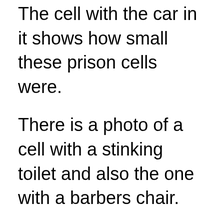The cell with the car in it shows how small these prison cells were.
There is a photo of a cell with a stinking toilet and also the one with a barbers chair.
Then there is the picture of the fancy cell which is that of Al Capone’s (right after the regular disgusting cell). Pretty sure Capone had some real pull with the warden and guards, and I’m sure